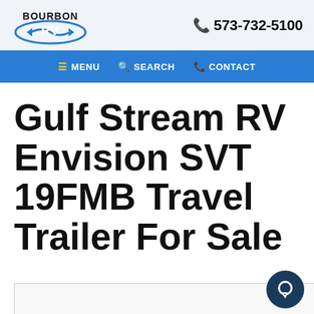Bourbon RV | 573-732-5100
MENU  SEARCH  CONTACT
Gulf Stream RV Envision SVT 19FMB Travel Trailer For Sale